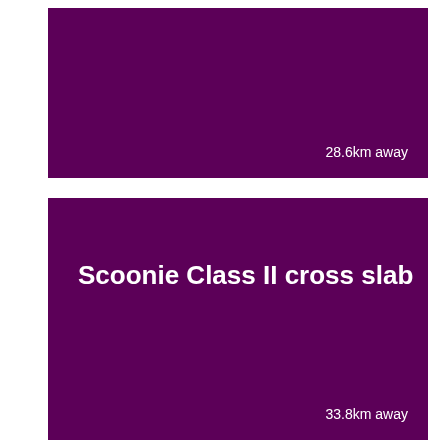[Figure (other): Purple card block (top) with distance label '28.6km away' in bottom right]
28.6km away
[Figure (other): Purple card block (bottom) with title 'Scoonie Class II cross slab' and distance label '33.8km away' in bottom right]
Scoonie Class II cross slab
33.8km away